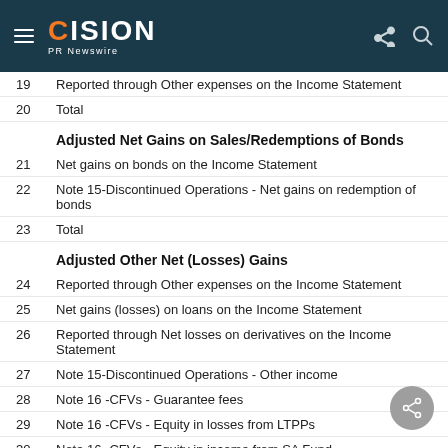CISION PR Newswire
19  Reported through Other expenses on the Income Statement
20  Total
Adjusted Net Gains on Sales/Redemptions of Bonds
21  Net gains on bonds on the Income Statement
22  Note 15-Discontinued Operations - Net gains on redemption of bonds
23  Total
Adjusted Other Net (Losses) Gains
24  Reported through Other expenses on the Income Statement
25  Net gains (losses) on loans on the Income Statement
26  Reported through Net losses on derivatives on the Income Statement
27  Note 15-Discontinued Operations - Other income
28  Note 16 -CFVs - Guarantee fees
29  Note 16 -CFVs -  Equity in losses from LTPPs
30  Note 16 -CFVs -  Equity in income from SA Fund
31  Note 16 -CFVs -  Other expenses
32  Equity in income from IHS reported through an allocation of income
33  Total